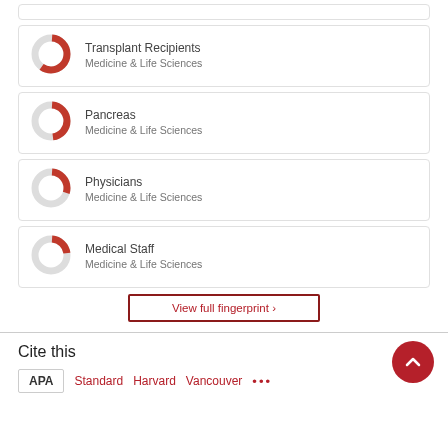Transplant Recipients — Medicine & Life Sciences
Pancreas — Medicine & Life Sciences
Physicians — Medicine & Life Sciences
Medical Staff — Medicine & Life Sciences
View full fingerprint ›
Cite this
APA  Standard  Harvard  Vancouver  ...